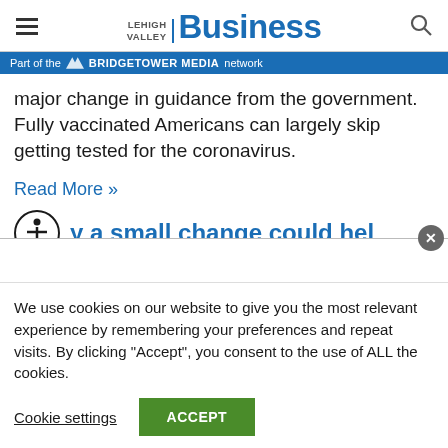LEHIGH VALLEY BUSINESS
Part of the BRIDGETOWER MEDIA network
major change in guidance from the government. Fully vaccinated Americans can largely skip getting tested for the coronavirus.
Read More »
[Figure (screenshot): Partially visible article headline in blue underlined text]
We use cookies on our website to give you the most relevant experience by remembering your preferences and repeat visits. By clicking "Accept", you consent to the use of ALL the cookies.
Cookie settings
ACCEPT